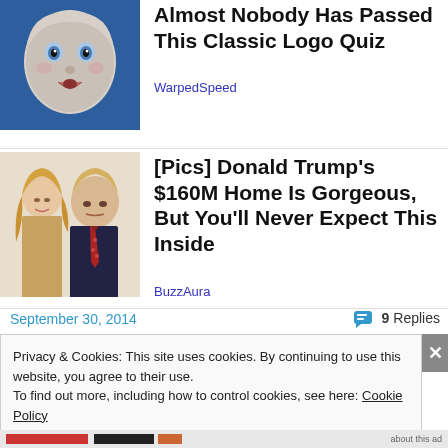[Figure (photo): Baby face illustration on blue background - logo quiz ad thumbnail]
Almost Nobody Has Passed This Classic Logo Quiz
WarpedSpeed
[Figure (photo): Photo of man and woman - Donald Trump home article thumbnail]
[Pics] Donald Trump's $160M Home Is Gorgeous, But You'll Never Expect This Inside
BuzzAura
September 30, 2014
9 Replies
Privacy & Cookies: This site uses cookies. By continuing to use this website, you agree to their use.
To find out more, including how to control cookies, see here: Cookie Policy
Close and accept